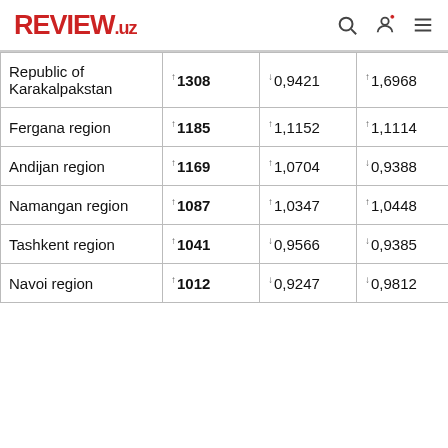REVIEW.uz
| Region | Col2 | Col3 | Col4 | Col5 |
| --- | --- | --- | --- | --- |
| Republic of Karakalpakstan | ↑1308 | ↓0,9421 | ↑1,6968 | ↑1,0877 |
| Fergana region | ↑1185 | ↑1,1152 | ↑1,1114 | ↑1,1145 |
| Andijan region | ↑1169 | ↑1,0704 | ↓0,9388 | ↑1,0872 |
| Namangan region | ↑1087 | ↑1,0347 | ↑1,0448 | ↑1,1203 |
| Tashkent region | ↑1041 | ↓0,9566 | ↓0,9385 | ↑1,1072 |
| Navoi region | ↑1012 | ↓0,9247 | ↓0,9812 | ↑1,0726 |